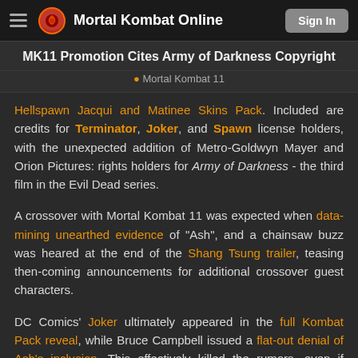Mortal Kombat Online — Sign In
MK11 Promotion Cites Army of Darkness Copyright
Mortal Kombat 11
Hellspawn Jacqui and Matinee Skins Pack. Included are credits for Terminator, Joker, and Spawn license holders, with the unexpected addition of Metro-Goldwyn Mayer and Orion Pictures: rights holders for Army of Darkness - the third film in the Evil Dead series.
A crossover with Mortal Kombat 11 was expected when data-mining unearthed evidence of "Ash", and a chainsaw buzz was heared at the end of the Shang Tsung trailer, teasing then-coming announcements for additional crossover guest characters.
DC Comics' Joker ultimately appeared in the full Kombat Pack reveal, while Bruce Campbell issued a flat-out denial of Ash's inclusion. This effectively killed the rumors, even if some fans weren't convinced by the stars' colourful rebuttal.